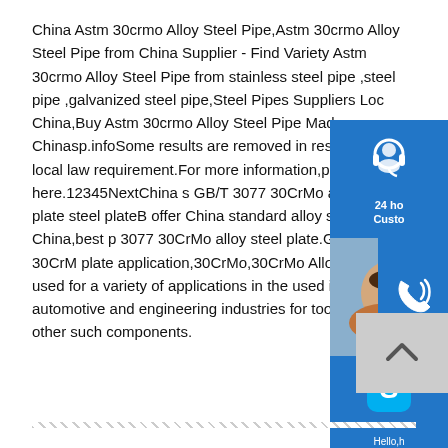China Astm 30crmo Alloy Steel Pipe,Astm 30crmo Alloy Steel Pipe from China Supplier - Find Variety Astm 30crmo Alloy Steel Pipe from stainless steel pipe ,steel pipe ,galvanized steel pipe,Steel Pipes Suppliers Located in China,Buy Astm 30crmo Alloy Steel Pipe Made in Chinasp.infoSome results are removed in response to a notice of local law requirement.For more information,please see here.12345NextChina s GB/T 3077 30CrMo alloy steel plate steel plateB offer China standard alloy steel in China,best p 3077 30CrMo alloy steel plate.GB/T 3077 30CrM plate application,30CrMo,30CrMo Alloy Steel Pl used for a variety of applications in the used in the automotive and engineering industries for toolholders and other such components.
[Figure (infographic): Blue sidebar widget with customer service icon (headset), text '24 ho Custo']
[Figure (photo): Blue sidebar widget with phone/call icon over a photo of a woman wearing headset]
[Figure (infographic): Blue sidebar widget with Skype logo icon, text 'Hello,h hel' and orange 'Chat Now' button]
[Figure (infographic): Gray back-to-top button with upward chevron arrow]